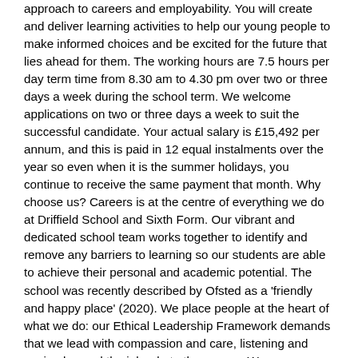approach to careers and employability. You will create and deliver learning activities to help our young people to make informed choices and be excited for the future that lies ahead for them. The working hours are 7.5 hours per day term time from 8.30 am to 4.30 pm over two or three days a week during the school term. We welcome applications on two or three days a week to suit the successful candidate. Your actual salary is £15,492 per annum, and this is paid in 12 equal instalments over the year so even when it is the summer holidays, you continue to receive the same payment that month. Why choose us? Careers is at the centre of everything we do at Driffield School and Sixth Form. Our vibrant and dedicated school team works together to identify and remove any barriers to learning so our students are able to achieve their personal and academic potential. The school was recently described by Ofsted as a 'friendly and happy place' (2020). We place people at the heart of what we do: our Ethical Leadership Framework demands that we lead with compassion and care, listening and seeing beyond the job role to the person. We are genuinely committed to our students and our staff, and we do everything we can to ensure every child receives the care and